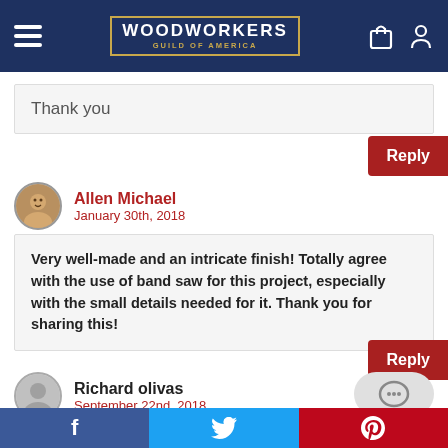Woodworkers Guild of America
Thank you
Reply
Allen Michael
January 30th, 2018
Very well-made and an intricate finish! Totally agree with the use of band saw for this project, especially with the small details needed for it. Thank you for sharing this!
Reply
Richard olivas
September 22nd, 2018
f  t  p